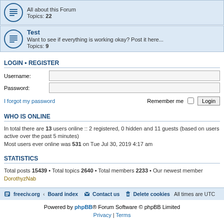All about this Forum Topics: 22
Test — Want to see if everything is working okay? Post it here... Topics: 9
LOGIN • REGISTER
Username:
Password:
I forgot my password  Remember me  Login
WHO IS ONLINE
In total there are 13 users online :: 2 registered, 0 hidden and 11 guests (based on users active over the past 5 minutes)
Most users ever online was 531 on Tue Jul 30, 2019 4:17 am
STATISTICS
Total posts 15439 • Total topics 2640 • Total members 2233 • Our newest member DorothyzNab
freeciv.org • Board index  Contact us  Delete cookies  All times are UTC
Powered by phpBB® Forum Software © phpBB Limited
Privacy | Terms